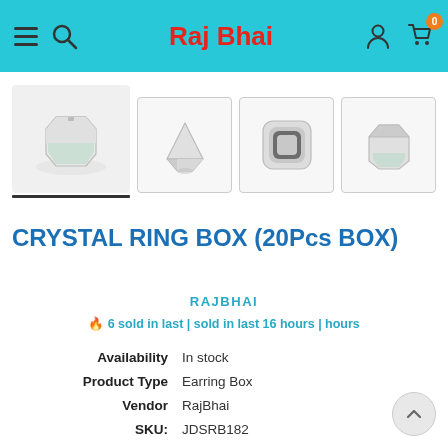Raj Bhai
[Figure (photo): Four thumbnail images of a crystal ring/earring box shown from different angles — open, top, closed front, and closed angled views.]
CRYSTAL RING BOX (20Pcs BOX)
RAJBHAI
🔥 6 sold in last | sold in last 16 hours | hours
| Label | Value |
| --- | --- |
| Availability | In stock |
| Product Type | Earring Box |
| Vendor | RajBhai |
| SKU: | JDSRB182 |